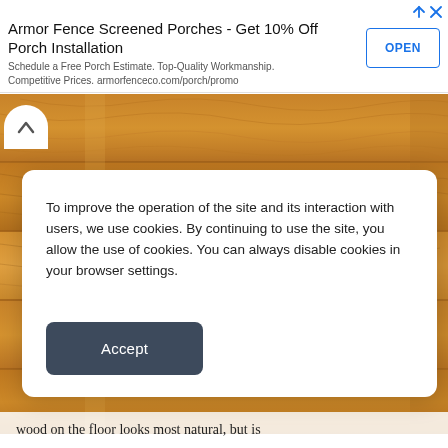Armor Fence Screened Porches - Get 10% Off Porch Installation
Schedule a Free Porch Estimate. Top-Quality Workmanship. Competitive Prices. armorfenceco.com/porch/promo
[Figure (photo): Close-up photo of warm golden-brown hardwood floor planks with wood grain texture visible]
To improve the operation of the site and its interaction with users, we use cookies. By continuing to use the site, you allow the use of cookies. You can always disable cookies in your browser settings.
Accept
wood on the floor looks most natural, but is